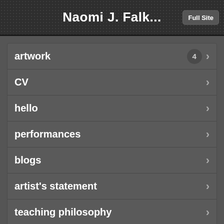Naomi J. Falk...
artwork
CV
hello
performances
blogs
artist's statement
teaching philosophy
bio + mailing list